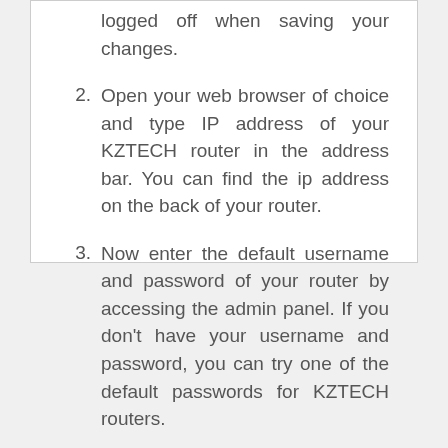logged off when saving your changes.
2. Open your web browser of choice and type IP address of your KZTECH router in the address bar. You can find the ip address on the back of your router.
3. Now enter the default username and password of your router by accessing the admin panel. If you don't have your username and password, you can try one of the default passwords for KZTECH routers.